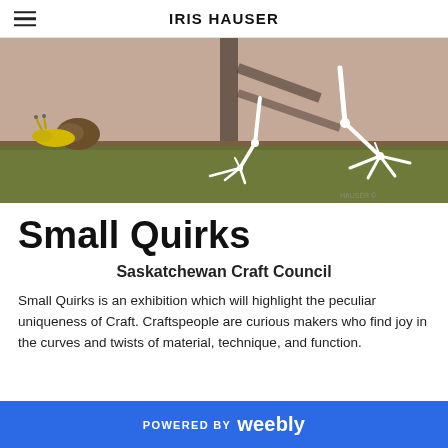IRIS HAUSER
[Figure (illustration): A painting showing skeletal bird legs and feet on a green surface with a yellow banana slug or snail with a pine cone shell on the left, against a pinkish-beige background with dark tree shadow]
Small Quirks
Saskatchewan Craft Council
Small Quirks is an exhibition which will highlight the peculiar uniqueness of Craft. Craftspeople are curious makers who find joy in the curves and twists of material, technique, and function.
POWERED BY weebly